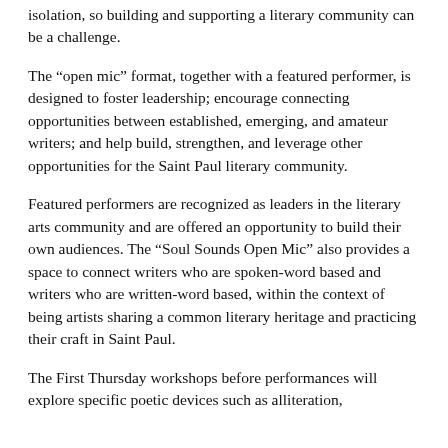isolation, so building and supporting a literary community can be a challenge.
The “open mic” format, together with a featured performer, is designed to foster leadership; encourage connecting opportunities between established, emerging, and amateur writers; and help build, strengthen, and leverage other opportunities for the Saint Paul literary community.
Featured performers are recognized as leaders in the literary arts community and are offered an opportunity to build their own audiences. The “Soul Sounds Open Mic” also provides a space to connect writers who are spoken-word based and writers who are written-word based, within the context of being artists sharing a common literary heritage and practicing their craft in Saint Paul.
The First Thursday workshops before performances will explore specific poetic devices such as alliteration,